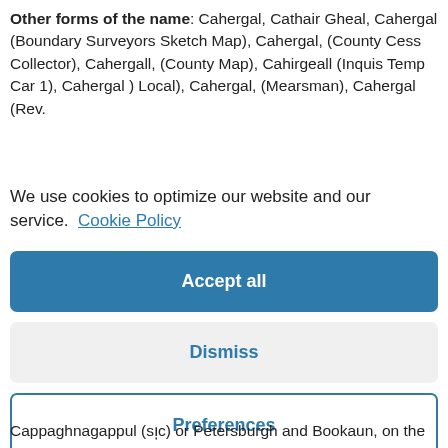Other forms of the name: Cahergal, Cathair Gheal, Cahergal (Boundary Surveyors Sketch Map), Cahergal, (County Cess Collector), Cahergall, (County Map), Cahirgeall (Inquis Temp Car 1), Cahergal ) Local), Cahergal, (Mearsman), Cahergal (Rev.
We use cookies to optimize our website and our service. Cookie Policy
Accept all
Dismiss
Preferences
Cappaghnagappul (sic) or Petersburgh and Bookaun, on the